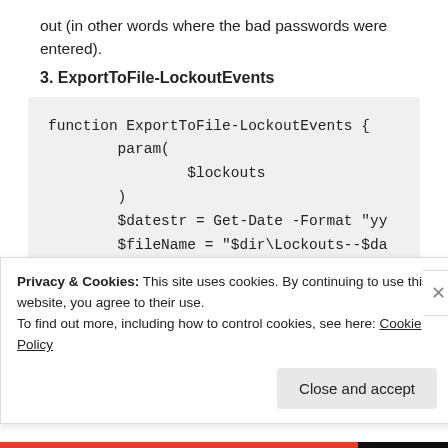out (in other words where the bad passwords were entered).
3. ExportToFile-LockoutEvents
[Figure (screenshot): Code block showing PowerShell function ExportToFile-LockoutEvents with param($lockouts), $datestr = Get-Date -Format "yy...", $fileName = "$dir\Lockouts--$da...", $lockouts | Export-Csv $fileNam..., closing brace.]
Privacy & Cookies: This site uses cookies. By continuing to use this website, you agree to their use.
To find out more, including how to control cookies, see here: Cookie Policy
Close and accept